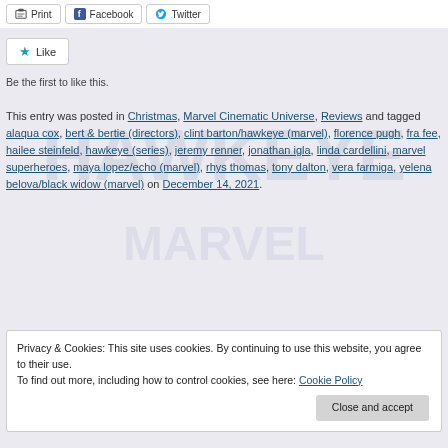Print  Facebook  Twitter
★ Like
Be the first to like this.
This entry was posted in Christmas, Marvel Cinematic Universe, Reviews and tagged alaqua cox, bert & bertie (directors), clint barton/hawkeye (marvel), florence pugh, fra fee, hailee steinfeld, hawkeye (series), jeremy renner, jonathan igla, linda cardellini, marvel superheroes, maya lopez/echo (marvel), rhys thomas, tony dalton, vera farmiga, yelena belova/black widow (marvel) on December 14, 2021.
Privacy & Cookies: This site uses cookies. By continuing to use this website, you agree to their use. To find out more, including how to control cookies, see here: Cookie Policy
Close and accept